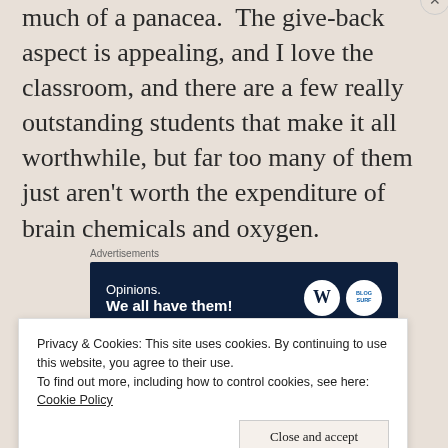much of a panacea. The give-back aspect is appealing, and I love the classroom, and there are a few really outstanding students that make it all worthwhile, but far too many of them just aren't worth the expenditure of brain chemicals and oxygen.
[Figure (screenshot): Advertisement banner with dark navy background reading 'Opinions. We all have them!' with WordPress logo and another circular logo on the right]
[Figure (screenshot): Partial advertisement strip with blue and orange colors, partially obscured by cookie banner]
Privacy & Cookies: This site uses cookies. By continuing to use this website, you agree to their use.
To find out more, including how to control cookies, see here: Cookie Policy